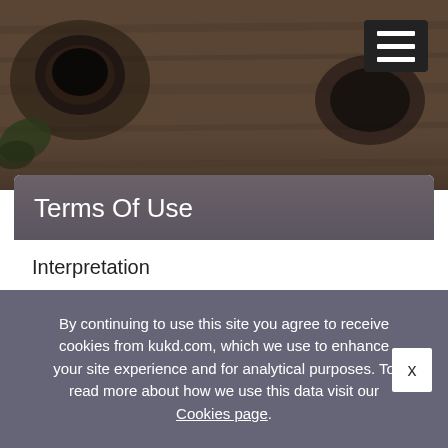[Figure (photo): Dark wooden table background with coffee cup and plants, viewed from above]
Terms Of Use
Interpretation
“We”/“Us”/“Our” means , trading from , whose registered office is at ] “Kukd.com”/“Kukd.com (UK) Limited” means Kukd.com (UK) Limited, a company registered in England and Wales under number 11711459, whose registered office is at Cedar House, Hazell Drive, Newport, Wales, NP10 8FY, and being the operators of
By continuing to use this site you agree to receive cookies from kukd.com, which we use to enhance your site experience and for analytical purposes. To read more about how we use this data visit our Cookies page.